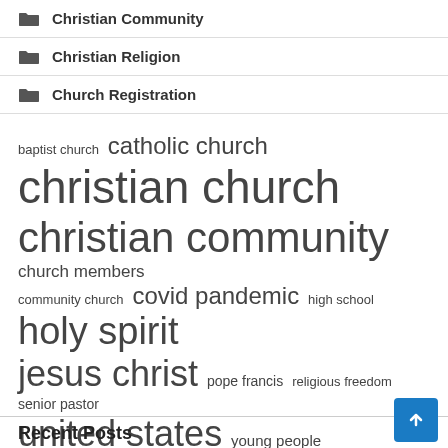Christian Community
Christian Religion
Church Registration
[Figure (infographic): Tag cloud with words of varying sizes: baptist church, catholic church, christian church, christian community, church members, community church, covid pandemic, high school, holy spirit, jesus christ, pope francis, religious freedom, senior pastor, united states, young people]
Recent Posts